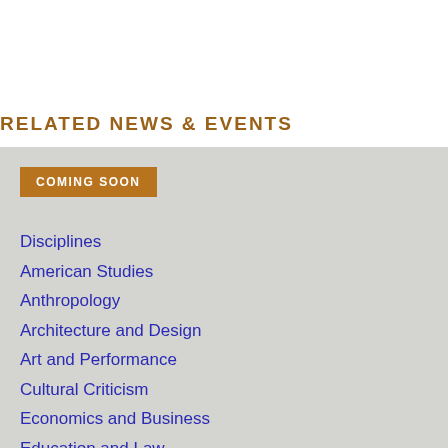RELATED NEWS & EVENTS
COMING SOON
Disciplines
American Studies
Anthropology
Architecture and Design
Art and Performance
Cultural Criticism
Economics and Business
Education and Law
Environment